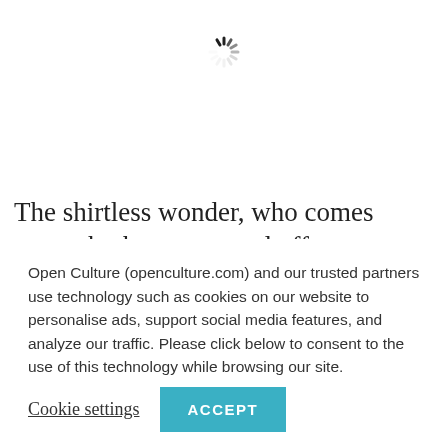[Figure (other): Loading spinner icon (animated circular spinner graphic)]
The shirtless wonder, who comes across both onstage and off as incredibly gregarious, yet humble, was once
Open Culture (openculture.com) and our trusted partners use technology such as cookies on our website to personalise ads, support social media features, and analyze our traffic. Please click below to consent to the use of this technology while browsing our site.
Cookie settings   ACCEPT